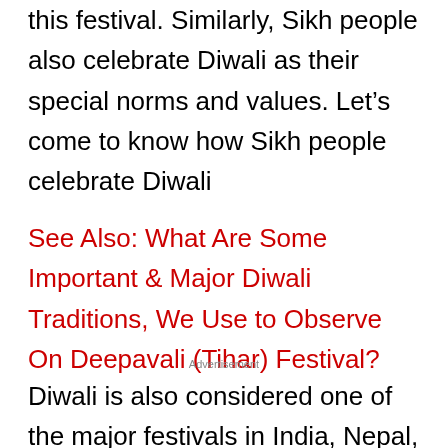this festival. Similarly, Sikh people also celebrate Diwali as their special norms and values. Let's come to know how Sikh people celebrate Diwali
See Also: What Are Some Important & Major Diwali Traditions, We Use to Observe On Deepavali (Tihar) Festival?
Advertisement
Diwali is also considered one of the major festivals in India, Nepal, Sri Lanka,